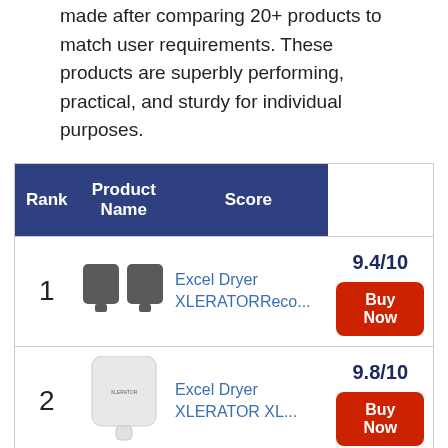made after comparing 20+ products to match user requirements. These products are superbly performing, practical, and sturdy for individual purposes.
| Rank | Product Name | Score |
| --- | --- | --- |
| 1 | Excel Dryer XLERATORReco... | 9.4/10 Buy Now |
| 2 | Excel Dryer XLERATOR XL... | 9.8/10 Buy Now |